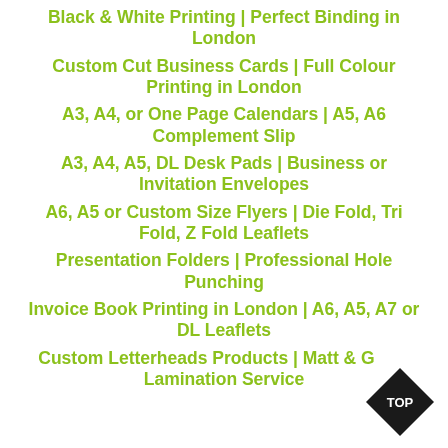Black & White Printing | Perfect Binding in London
Custom Cut Business Cards | Full Colour Printing in London
A3, A4, or One Page Calendars | A5, A6 Complement Slip
A3, A4, A5, DL Desk Pads | Business or Invitation Envelopes
A6, A5 or Custom Size Flyers | Die Fold, Tri Fold, Z Fold Leaflets
Presentation Folders | Professional Hole Punching
Invoice Book Printing in London | A6, A5, A7 or DL Leaflets
Custom Letterheads Products | Matt & Gloss Lamination Service